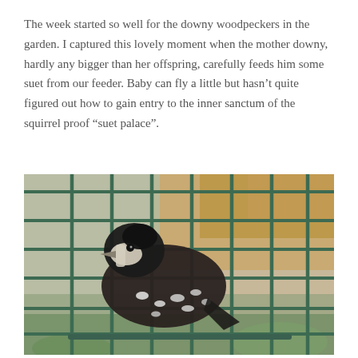The week started so well for the downy woodpeckers in the garden. I captured this lovely moment when the mother downy, hardly any bigger than her offspring, carefully feeds him some suet from our feeder. Baby can fly a little but hasn't quite figured out how to gain entry to the inner sanctum of the squirrel proof "suet palace".
[Figure (photo): A downy woodpecker clinging to a dark green wire-mesh suet feeder cage. The bird is black and white with spotted wing feathers, viewed from the side, with blurred suet and leaves visible in the background.]